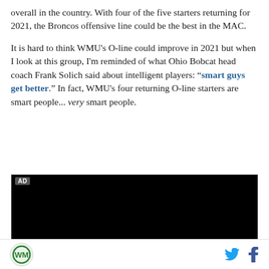overall in the country. With four of the five starters returning for 2021, the Broncos offensive line could be the best in the MAC.
It is hard to think WMU's O-line could improve in 2021 but when I look at this group, I'm reminded of what Ohio Bobcat head coach Frank Solich said about intelligent players: "smart guys get better." In fact, WMU's four returning O-line starters are smart people... very smart people.
[Figure (other): Black advertisement video player block with AD label in top-left corner]